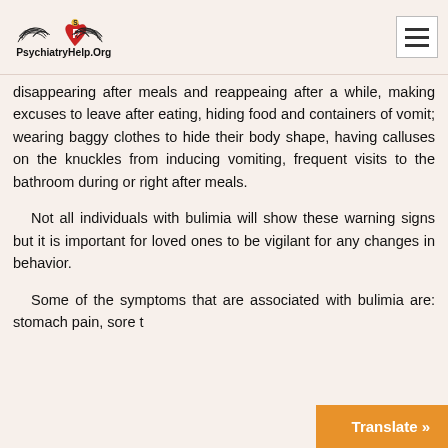PsychiatryHelp.Org
disappearing after meals and reappearing after a while, making excuses to leave after eating, hiding food and containers of vomit; wearing baggy clothes to hide their body shape, having calluses on the knuckles from inducing vomiting, frequent visits to the bathroom during or right after meals.
Not all individuals with bulimia will show these warning signs but it is important for loved ones to be vigilant for any changes in behavior.
Some of the symptoms that are associated with bulimia are: stomach pain, sore t